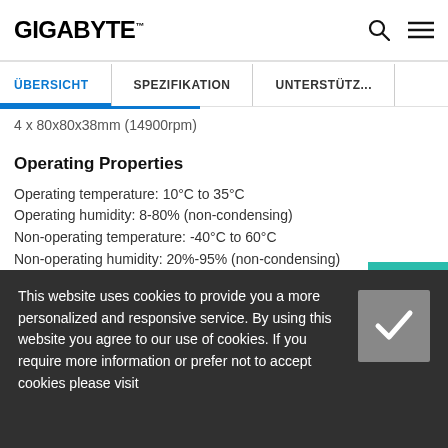GIGABYTE
ÜBERSICHT | SPEZIFIKATION | UNTERSTÜTZUNG
4 x 80x80x38mm (14900rpm)
Operating Properties
Operating temperature: 10°C to 35°C
Operating humidity: 8-80% (non-condensing)
Non-operating temperature: -40°C to 60°C
Non-operating humidity: 20%-95% (non-condensing)
This website uses cookies to provide you a more personalized and responsive service. By using this website you agree to our use of cookies. If you require more information or prefer not to accept cookies please visit